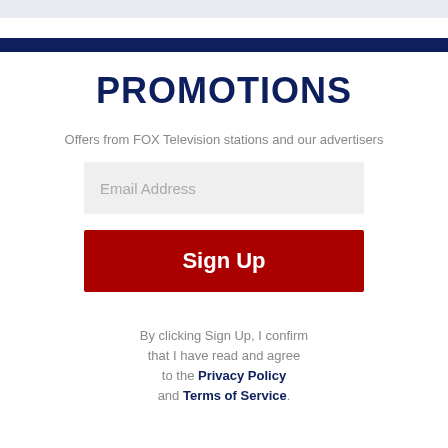PROMOTIONS
Offers from FOX Television stations and our advertisers
Email Address
Sign Up
By clicking Sign Up, I confirm that I have read and agree to the Privacy Policy and Terms of Service.